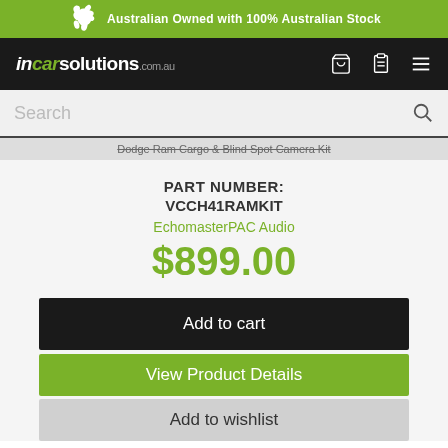Australian Owned with 100% Australian Stock
[Figure (logo): incarsolutions.com.au logo on black navigation bar with cart, wishlist, and menu icons]
Search
Dodge Ram Cargo & Blind Spot Camera Kit
PART NUMBER:
VCCH41RAMKIT
EchomasterPAC Audio
$899.00
Add to cart
View Product Details
Add to wishlist